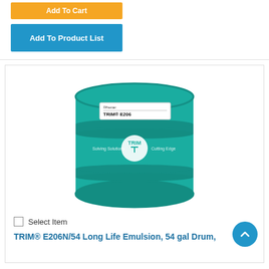[Figure (other): Orange 'Add To Cart' button]
[Figure (other): Blue 'Add To Product List' button]
[Figure (photo): Photo of a teal/green 54-gallon drum labeled TRIM E206, with the TRIM logo and text on the band reading 'Solving Solutions' and 'Cutting Edge']
Select Item
TRIM® E206N/54 Long Life Emulsion, 54 gal Drum,